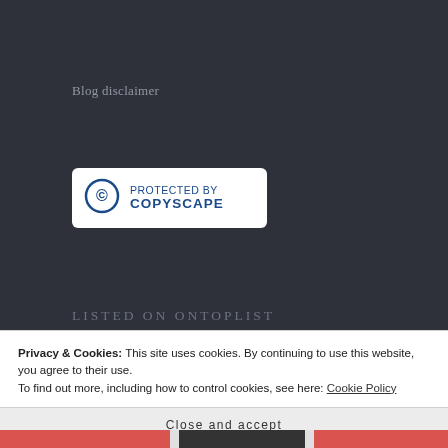Blog disclaimer
[Figure (logo): Protected by Copyscape badge — white rounded rectangle with Copyscape copyright logo and text 'PROTECTED BY COPYSCAPE' in blue]
LISTED ON ONTOPLIST
Privacy & Cookies: This site uses cookies. By continuing to use this website, you agree to their use.
To find out more, including how to control cookies, see here: Cookie Policy
Close and accept